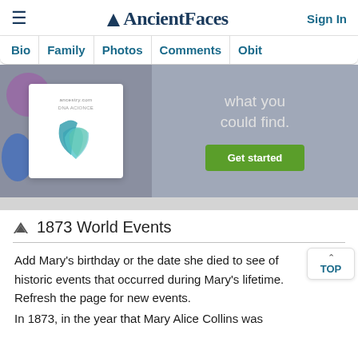AncientFaces — Sign In
Bio | Family | Photos | Comments | Obit
[Figure (illustration): Ancestry DNA advertisement banner with a leaf logo on a white card and the text 'what you could find.' with a green 'Get started' button on a gray background.]
1873 World Events
Add Mary's birthday or the date she died to see of historic events that occurred during Mary's lifetime. Refresh the page for new events.
In 1873, in the year that Mary Alice Collins was